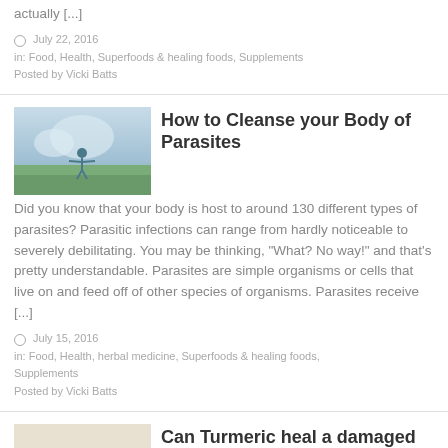actually [...]
July 22, 2016
in: Food, Health, Superfoods & healing foods, Supplements
Posted by Vicki Batts
How to Cleanse your Body of Parasites
[Figure (photo): Person with arms outstretched on a hilltop against a cloudy sky]
Did you know that your body is host to around 130 different types of parasites? Parasitic infections can range from hardly noticeable to severely debilitating. You may be thinking, "What? No way!" and that's pretty understandable. Parasites are simple organisms or cells that live on and feed off of other species of organisms. Parasites receive [...]
July 15, 2016
in: Food, Health, herbal medicine, Superfoods & healing foods, Supplements
Posted by Vicki Batts
Can Turmeric heal a damaged brain?
[Figure (photo): Bowl of turmeric powder with turmeric root pieces]
Turmeric is often thought of as the spice that gives curries their beautiful color and unique flavor, but it is also an incredibly versatile in the world of herbal medicine, as well